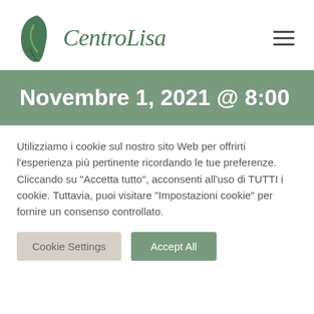[Figure (logo): CentroLisa logo with green leaf/face icon and italic serif text 'CentroLisa']
Novembre 1, 2021 @ 8:00
Utilizziamo i cookie sul nostro sito Web per offrirti l'esperienza più pertinente ricordando le tue preferenze. Cliccando su "Accetta tutto", acconsenti all'uso di TUTTI i cookie. Tuttavia, puoi visitare "Impostazioni cookie" per fornire un consenso controllato.
Cookie Settings | Accept All